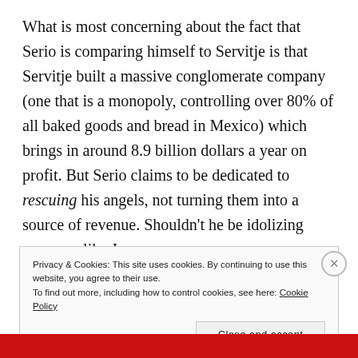What is most concerning about the fact that Serio is comparing himself to Servitje is that Servitje built a massive conglomerate company (one that is a monopoly, controlling over 80% of all baked goods and bread in Mexico) which brings in around 8.9 billion dollars a year on profit. But Serio claims to be dedicated to rescuing his angels, not turning them into a source of revenue. Shouldn't he be idolizing someone like Jane
Privacy & Cookies: This site uses cookies. By continuing to use this website, you agree to their use. To find out more, including how to control cookies, see here: Cookie Policy